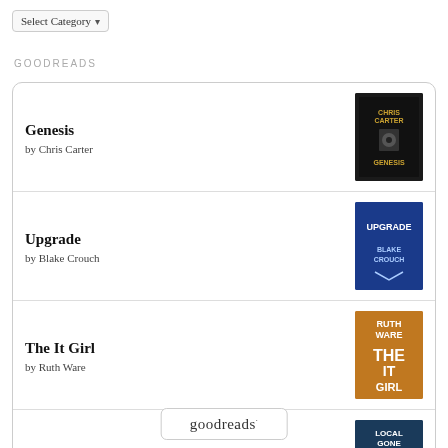Select Category
GOODREADS
Genesis by Chris Carter
Upgrade by Blake Crouch
The It Girl by Ruth Ware
Local Gone Missing by Fiona Barton
[Figure (logo): goodreads logo in rounded rectangle button]